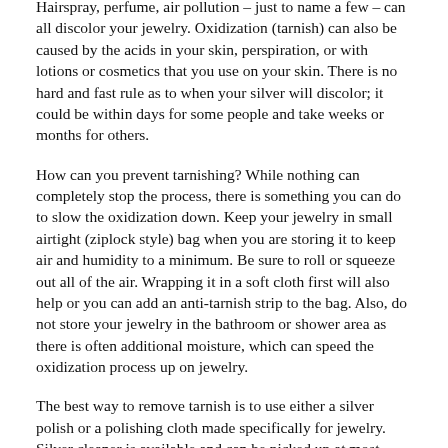Hairspray, perfume, air pollution – just to name a few – can all discolor your jewelry. Oxidization (tarnish) can also be caused by the acids in your skin, perspiration, or with lotions or cosmetics that you use on your skin. There is no hard and fast rule as to when your silver will discolor; it could be within days for some people and take weeks or months for others.
How can you prevent tarnishing? While nothing can completely stop the process, there is something you can do to slow the oxidization down. Keep your jewelry in small airtight (ziplock style) bag when you are storing it to keep air and humidity to a minimum. Be sure to roll or squeeze out all of the air. Wrapping it in a soft cloth first will also help or you can add an anti-tarnish strip to the bag. Also, do not store your jewelry in the bathroom or shower area as there is often additional moisture, which can speed the oxidization process up on jewelry.
The best way to remove tarnish is to use either a silver polish or a polishing cloth made specifically for jewelry. Silver cleaner is available and can be picked up at most grocery stores or at a jewelry store. Polishing cloths (my favorite is the Sunshine Cloth) will also do a nice job of removing tarnish from your jewelry. The Sunshine Cloth will also work on any metal - gold, silver, copper - so it's a nice option if you have different types of metal in your jewelry. Be aware that some items such as pearls and opals